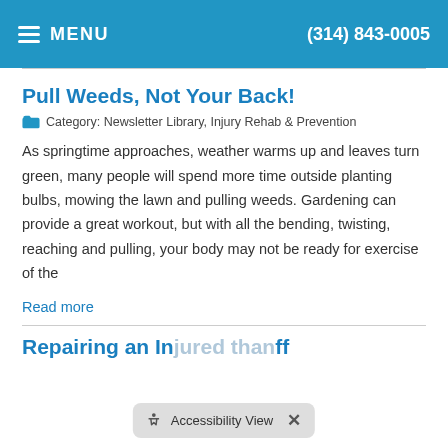MENU   (314) 843-0005
Pull Weeds, Not Your Back!
Category: Newsletter Library, Injury Rehab & Prevention
As springtime approaches, weather warms up and leaves turn green, many people will spend more time outside planting bulbs, mowing the lawn and pulling weeds. Gardening can provide a great workout, but with all the bending, twisting, reaching and pulling, your body may not be ready for exercise of the
Read more
Repairing an In... ff